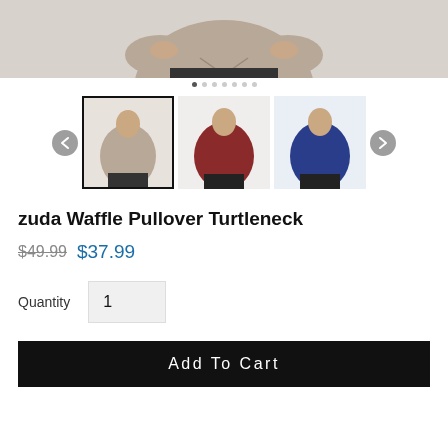[Figure (photo): Main product image showing a woman wearing a taupe waffle pullover turtleneck, cropped at waist level]
[Figure (photo): Thumbnail carousel showing three color variants: taupe (selected), red/burgundy, and navy blue turtleneck sweaters, with left and right navigation arrows]
zuda Waffle Pullover Turtleneck
$49.99 (strikethrough) $37.99 (sale price in blue)
Quantity  1
Add To Cart